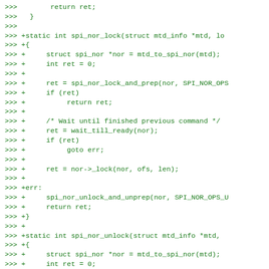>>> 		return ret;
>>> 	}
>>>
>>> +static int spi_nor_lock(struct mtd_info *mtd, lo
>>> +{
>>> +	struct spi_nor *nor = mtd_to_spi_nor(mtd);
>>> +	int ret = 0;
>>> +
>>> +	ret = spi_nor_lock_and_prep(nor, SPI_NOR_OP
>>> +	if (ret)
>>> +		return ret;
>>> +
>>> +	/* Wait until finished previous command */
>>> +	ret = wait_till_ready(nor);
>>> +	if (ret)
>>> +		goto err;
>>> +
>>> +	ret = nor->_lock(nor, ofs, len);
>>> +
>>> ++err:
>>> +	spi_nor_unlock_and_unprep(nor, SPI_NOR_OPS_
>>> +	return ret;
>>> +}
>>> +
>>> +static int spi_nor_unlock(struct mtd_info *mtd,
>>> +{
>>> +	struct spi_nor *nor = mtd_to_spi_nor(mtd);
>>> +	int ret = 0;
>>> +
>>> +	ret = spi_nor_lock_and_prep(nor, SPI_NOR_OP
>>> +	if (ret)
>>> +		return ret;